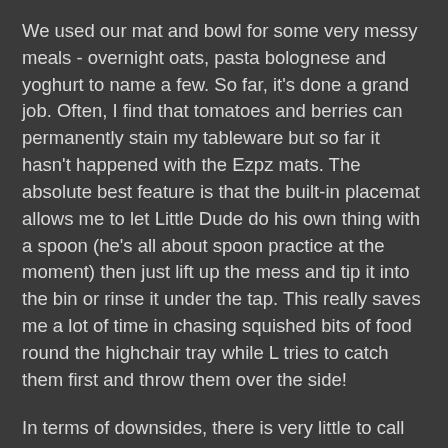We used our mat and bowl for some very messy meals - overnight oats, pasta bolognese and yoghurt to name a few. So far, it's done a grand job. Often, I find that tomatoes and berries can permanently stain my tableware but so far it hasn't happened with the Ezpz mats. The absolute best feature is that the built-in placemat allows me to let Little Dude do his own thing with a spoon (he's all about spoon practice at the moment) then just lift up the mess and tip it into the bin or rinse it under the tap. This really saves me a lot of time in chasing squished bits of food round the highchair tray while L tries to catch them first and throw them over the side!
In terms of downsides, there is very little to call out. The Ezpz logo has indented lettering which can be a bit fiddly to clean if food gets stuck in there, but that's about it. I have a titchy microwave so I haven't tried heating food up directly in them yet (I guess other people might have the same problem), but again, that doesn't cause me any real issues.
So - overall, I think these are a fab product and they've